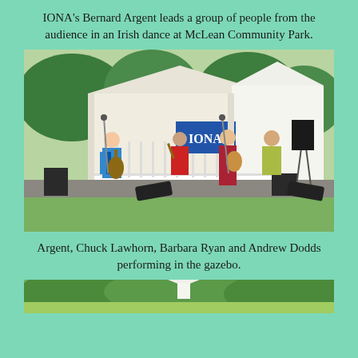IONA's Bernard Argent leads a group of people from the audience in an Irish dance at McLean Community Park.
[Figure (photo): Band IONA performing on an outdoor gazebo stage at McLean Community Park. Four musicians visible: guitarist in blue shirt on left, fiddler in red shirt, female guitarist/singer in red dress, and fiddler in green shirt on right. White gazebo structure with ornate railing, white tent, and IONA banner visible in background.]
Argent, Chuck Lawhorn, Barbara Ryan and Andrew Dodds performing in the gazebo.
[Figure (photo): Partial view of another outdoor scene, bottom of page, showing green grass and trees with a partial white tent or structure visible.]